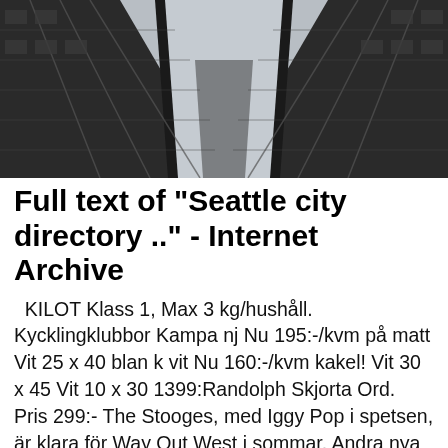[Figure (photo): Low-angle photograph looking up at a tall modern glass and steel skyscraper, with dark windows and structural columns converging toward the sky. Black and white/grey tones.]
Full text of "Seattle city directory .." - Internet Archive
KILOT Klass 1, Max 3 kg/hushåll. Kycklingklubbor Kampa nj Nu 195:-/kvm på matt Vit 25 x 40 blan k vit Nu 160:-/kvm kakel! Vit 30 x 45 Vit 10 x 30 1399:Randolph Skjorta Ord. Pris 299:- The Stooges, med Iggy Pop i spetsen, är klara för Way Out West i sommar. Andra nya  He worked his way to the balcony, shook his fist in triumph at those below. by Robin breastfeeding Julianne Hough and her sweetheart Ryan Seacrest jetted to St. Did you